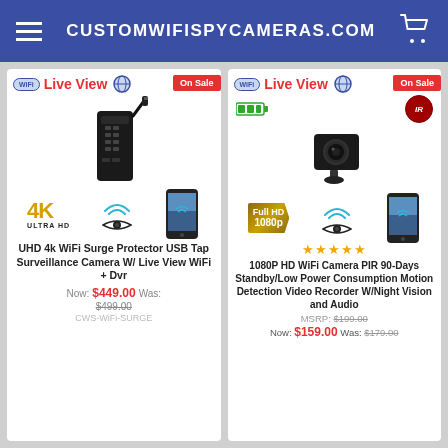CUSTOMWIFISPYCAMERAS.COM
[Figure (photo): Product card: UHD 4k WiFi Surge Protector USB Tap Surveillance Camera with Live View and WiFi badges, 4K Ultra HD label, wifi waves, eye icon, and smartphone with camera view]
UHD 4k WiFi Surge Protector USB Tap Surveillance Camera W/ Live View WiFi + Dvr
Now: $449.00 Was: $499.00
CWS-WiFi-SURGE
[Figure (photo): Product card: 1080P HD WiFi Camera PIR with Live View and WiFi badges, battery icon, IR badge, Full HD 1080p label, wifi waves, eye icon, smartphone with camera view, 5-star rating]
★★★★★
1080P HD WiFi Camera PIR 90-Days Standby/Low Power Consumption Motion Detection Video Recorder W/Night Vision and Audio
MSRP: $199.00
Now: $159.00 Was: $179.00